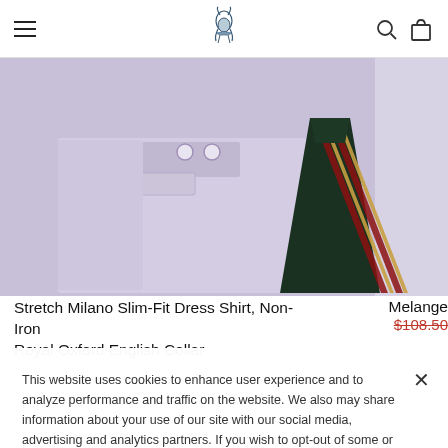[Figure (screenshot): Brooks Brothers website header with hamburger menu, logo (deer with clothing), search icon, and cart icon]
[Figure (photo): Folded light purple dress shirt with a dark green, red, and gold striped tie on top, partially cropped. A second product is partially visible on the right.]
Stretch Milano Slim-Fit Dress Shirt, Non-Iron Royal Oxford English Collar
Melange
$108.50
This website uses cookies to enhance user experience and to analyze performance and traffic on the website. We also may share information about your use of our site with our social media, advertising and analytics partners. If you wish to opt-out of some or all cookies used on this website, please click on the Opt-Out button. By using this website without disabling or blocking cookies, you agree to our use of cookies.
Opt Out
Accept